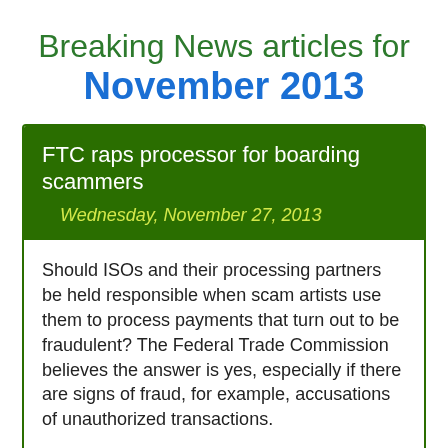Breaking News articles for November 2013
FTC raps processor for boarding scammers
Wednesday, November 27, 2013
Should ISOs and their processing partners be held responsible when scam artists use them to process payments that turn out to be fraudulent? The Federal Trade Commission believes the answer is yes, especially if there are signs of fraud, for example, accusations of unauthorized transactions.
read more